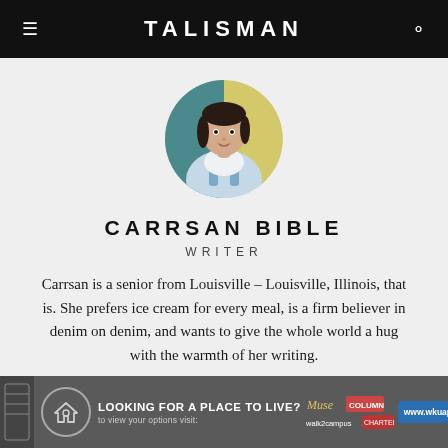TALISMAN
[Figure (illustration): Circular avatar illustration of a young woman with dark short hair wearing a blue denim overall, standing against a teal and yellow background.]
CARRSAN BIBLE
WRITER
Carrsan is a senior from Louisville – Louisville, Illinois, that is. She prefers ice cream for every meal, is a firm believer in denim on denim, and wants to give the whole world a hug with the warmth of her writing.
LOOKING FOR A PLACE TO LIVE? to view your options visit: www.wkuapartments.com